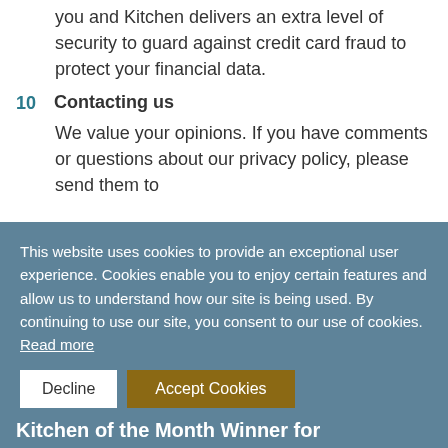you and Kitchen delivers an extra level of security to guard against credit card fraud to protect your financial data.
10  Contacting us
We value your opinions. If you have comments or questions about our privacy policy, please send them to
This website uses cookies to provide an exceptional user experience. Cookies enable you to enjoy certain features and allow us to understand how our site is being used. By continuing to use our site, you consent to our use of cookies. Read more
Decline  Accept Cookies
Kitchen of the Month Winner for